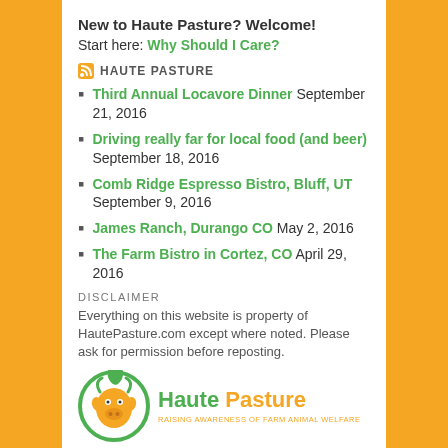New to Haute Pasture? Welcome!
Start here: Why Should I Care?
HAUTE PASTURE
Third Annual Locavore Dinner September 21, 2016
Driving really far for local food (and beer) September 18, 2016
Comb Ridge Espresso Bistro, Bluff, UT September 9, 2016
James Ranch, Durango CO May 2, 2016
The Farm Bistro in Cortez, CO April 29, 2016
DISCLAIMER
Everything on this website is property of HautePasture.com except where noted. Please ask for permission before reposting.
[Figure (logo): Haute Pasture logo with cow icon in a circular green/orange design and text 'Haute Pasture - Raising Awareness of Farm Animal Welfare']